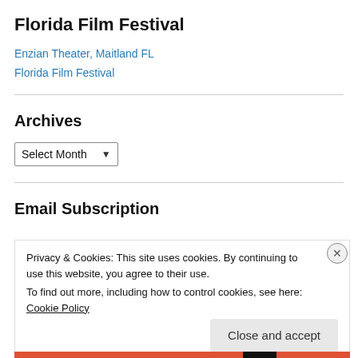Florida Film Festival
Enzian Theater, Maitland FL
Florida Film Festival
Archives
Select Month (dropdown)
Email Subscription
Privacy & Cookies: This site uses cookies. By continuing to use this website, you agree to their use. To find out more, including how to control cookies, see here: Cookie Policy
Close and accept